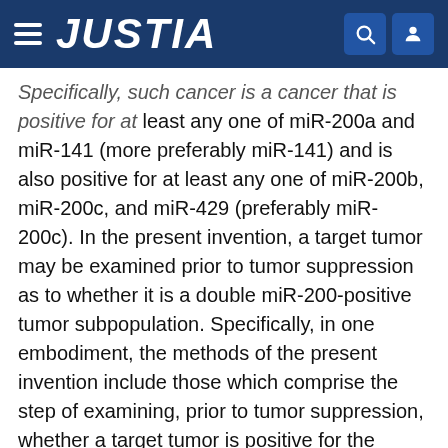JUSTIA
Specifically, such cancer is a cancer that is positive for at least any one of miR-200a and miR-141 (more preferably miR-141) and is also positive for at least any one of miR-200b, miR-200c, and miR-429 (preferably miR-200c). In the present invention, a target tumor may be examined prior to tumor suppression as to whether it is a double miR-200-positive tumor subpopulation. Specifically, in one embodiment, the methods of the present invention include those which comprise the step of examining, prior to tumor suppression, whether a target tumor is positive for the expression of both at least one miRNA containing 5'-AACACUG-3' as a seed sequence and at least one miRNA containing 5'-AAUACUG-3' as a seed sequence. For example, in one embodiment, the methods of the present invention include those which comprise the step of examining, prior to tumor suppression, whether a target tumor is positive for the